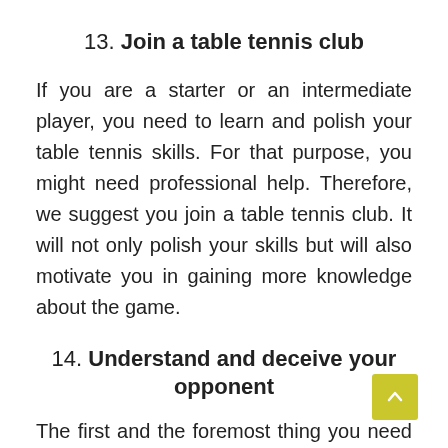13. Join a table tennis club
If you are a starter or an intermediate player, you need to learn and polish your table tennis skills. For that purpose, you might need professional help. Therefore, we suggest you join a table tennis club. It will not only polish your skills but will also motivate you in gaining more knowledge about the game.
14. Understand and deceive your opponent
The first and the foremost thing you need to